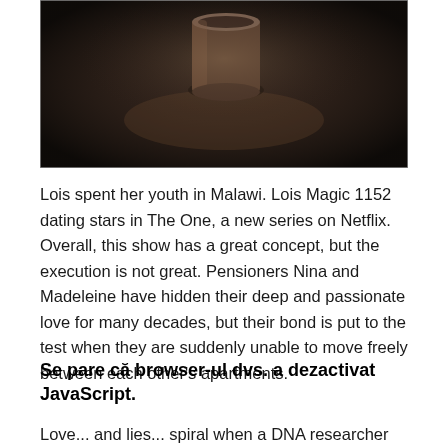[Figure (photo): A dark moody photograph showing what appears to be a cylindrical object (possibly a candle or container) on a dark surface with dim lighting.]
Lois spent her youth in Malawi. Lois Magic 1152 dating stars in The One, a new series on Netflix. Overall, this show has a great concept, but the execution is not great. Pensioners Nina and Madeleine have hidden their deep and passionate love for many decades, but their bond is put to the test when they are suddenly unable to move freely between each other's apartments.
Se pare că browser-ul dvs. a dezactivat JavaScript.
Love... and lies... spiral when a DNA researcher helps